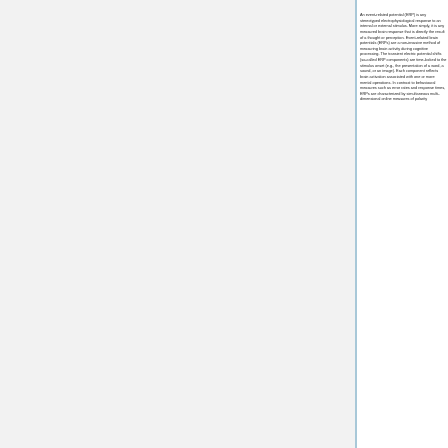An event-related potential (ERP) is any stereotyped electrophysiological response to an internal or external stimulus. More simply, it is any measured brain response that is directly the result of a thought or perception. Event-related brain potentials (ERPs) are a non-invasive method of measuring brain activity during cognitive processing. The transient electric potential shifts (so-called ERP components) are time-locked to the stimulus onset (e.g., the presentation of a word, a sound, or an image). Each component reflects brain activation associated with one or more mental operations. In contrast to behavioural measures such as error rates and response times, ERPs are characterized by simultaneous multi-dimensional online measures of polarity